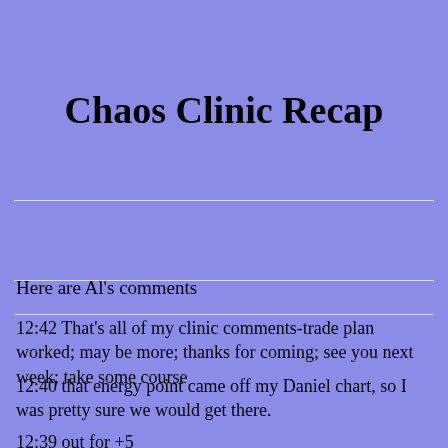Chaos Clinic Recap
Here are Al's comments
12:42 That's all of my clinic comments-trade plan worked; may be more; thanks for coming; see you next week; take some course
12:40 that energy point came off my Daniel chart, so I was pretty sure we would get there.
12:39 out for +5